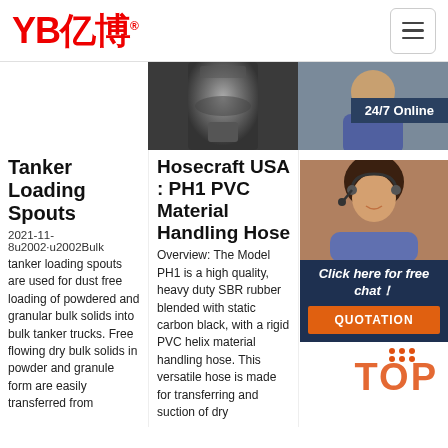YB亿博®
[Figure (photo): Three-column image strip: blank left, metal fitting center on dark background, customer service person on right with '24/7 Online' badge]
Tanker Loading Spouts
2021-11-8u2002·u2002Bulk tanker loading spouts are used for dust free loading of powdered and granular bulk solids into bulk tanker trucks. Free flowing dry bulk solids in powder and granule form are easily transferred from
Hosecraft USA : PH1 PVC Material Handling Hose
Overview: The Model PH1 is a high quality, heavy duty SBR rubber blended with static carbon black, with a rigid PVC helix material handling hose. This versatile hose is made for transferring and suction of dry
An Ho
PRO 330 Ant poly ligh resi resi highly abrasion resistant suction hose + pressure hose, multi-purpose hose + universal hose. antistatic < 10⁹. Wall thickness
[Figure (photo): Customer service representative with headset, smiling, with '24/7 Online' badge and chat overlay showing 'Click here for free chat!' and QUOTATION button]